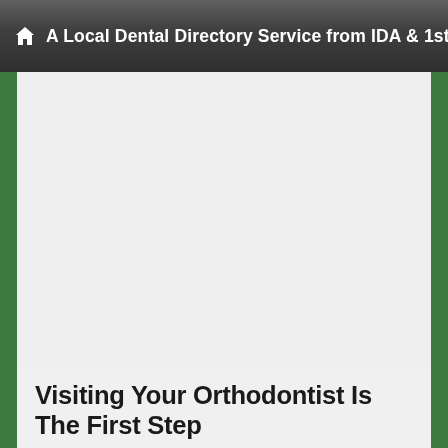A Local Dental Directory Service from IDA & 1stBraces
[Figure (other): Large light gray blank content area with dark green side borders, serving as a background/image placeholder]
Visiting Your Orthodontist Is The First Step